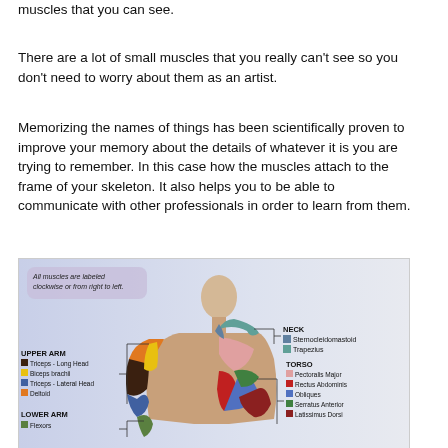muscles that you can see.
There are a lot of small muscles that you really can't see so you don't need to worry about them as an artist.
Memorizing the names of things has been scientifically proven to improve your memory about the details of whatever it is you are trying to remember. In this case how the muscles attach to the frame of your skeleton. It also helps you to be able to communicate with other professionals in order to learn from them.
[Figure (illustration): Anatomical diagram of a human figure with muscles labeled clockwise or from right to left. Sections include NECK (Sternocleidomastoid, Trapezius), UPPER ARM (Triceps - Long Head, Biceps brachii, Triceps - Lateral Head, Deltoid), LOWER ARM (Flexors), TORSO (Pectoralis Major, Rectus Abdominis, Obliques, Serratus Anterior, Latissimus Dorsi). A note reads: All muscles are labeled clockwise or from right to left.]